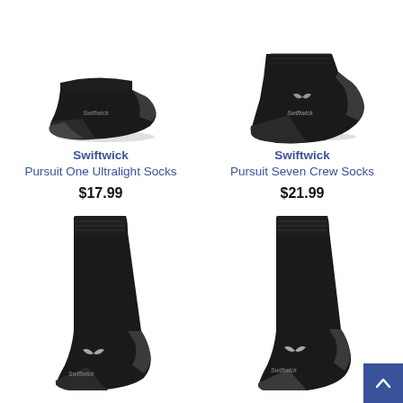[Figure (photo): Black Swiftwick Pursuit One Ultralight low-cut running sock, side profile view showing toe and heel in dark charcoal]
Swiftwick
Pursuit One Ultralight Socks
$17.99
[Figure (photo): Black Swiftwick Pursuit Seven Crew Sock, side profile showing ankle height with charcoal heel and logo]
Swiftwick
Pursuit Seven Crew Socks
$21.99
[Figure (photo): Black Swiftwick crew sock, full length view showing the cuff and Swiftwick logo near the ankle]
[Figure (photo): Black Swiftwick tall crew/compression sock, full length upright view with logo near ankle, scroll-up button overlay in corner]